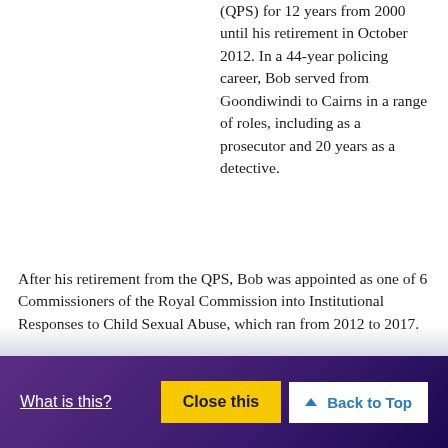(QPS) for 12 years from 2000 until his retirement in October 2012. In a 44-year policing career, Bob served from Goondiwindi to Cairns in a range of roles, including as a prosecutor and 20 years as a detective. After his retirement from the QPS, Bob was appointed as one of 6 Commissioners of the Royal Commission into Institutional Responses to Child Sexual Abuse, which ran from 2012 to 2017.
Bob is currently serving as Chair of Queensland's 9-member Truth, Healing and Reconciliation Taskforce, helping guide implementation of reforms arising from the Royal Commission. In 2018, Bob was appointed as a Special Advisor to the Queensland Government to examine and
What is this?   Close this   ▲ Back to Top